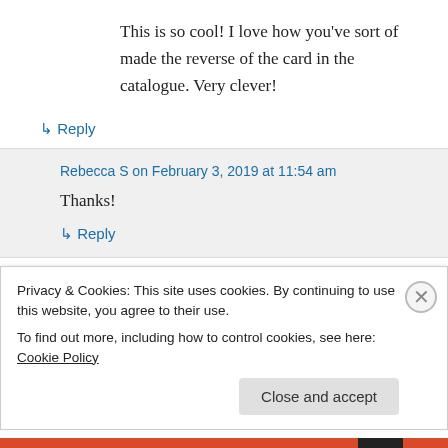This is so cool! I love how you've sort of made the reverse of the card in the catalogue. Very clever!
↳ Reply
Rebecca S on February 3, 2019 at 11:54 am
Thanks!
↳ Reply
Privacy & Cookies: This site uses cookies. By continuing to use this website, you agree to their use.
To find out more, including how to control cookies, see here: Cookie Policy